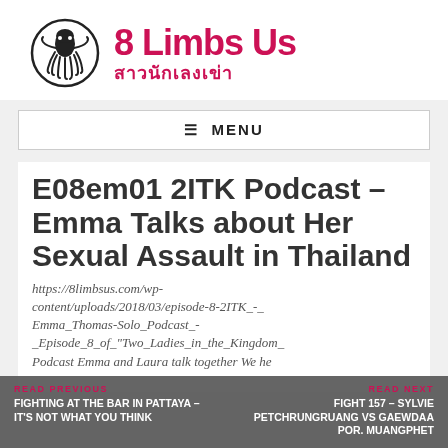[Figure (logo): 8 Limbs Us website logo: circle with octopus/squid illustration in black ink, and site name '8 Limbs Us' in pink/crimson bold font with Thai subtitle 'สาวนักเลงเข่า']
8 Limbs Us
สาวนักเลงเข่า
☰ MENU
E08em01 2ITK Podcast – Emma Talks about Her Sexual Assault in Thailand
https://8limbsus.com/wp-content/uploads/2018/03/episode-8-2ITK_-_Emma_Thomas-Solo_Podcast_-_Episode_8_of_Two_Ladies_in_the_Kingdom_Podcast Emma and Laura talk together We he
READ PREVIOUS
FIGHTING AT THE BAR IN PATTAYA – IT'S NOT WHAT YOU THINK
READ NEXT
FIGHT 157 – SYLVIE PETCHRUNGRUANG VS GAEWDAA POR. MUANGPHET